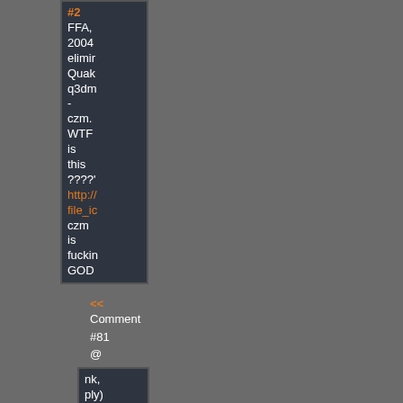#2 FFA, 2004 elimin Quak q3dm - czm. WTF is this ???? http:// file_ic czm is fuckin GOD
<< Comment #81 @ 11:49 CDT, 30 May 2013 >>
nk, ply)